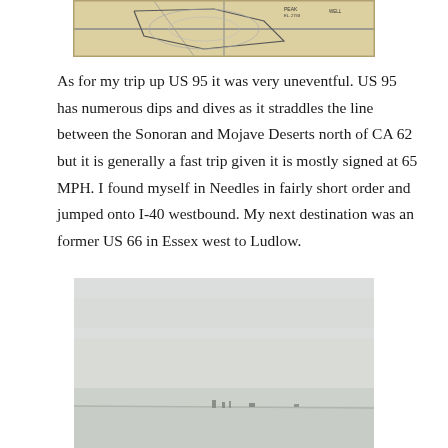[Figure (map): Partial map image showing topographic/road map detail, cropped at top of page]
As for my trip up US 95 it was very uneventful.  US 95 has numerous dips and dives as it straddles the line between the Sonoran and Mojave Deserts north of CA 62 but it is generally a fast trip given it is mostly signed at 65 MPH.  I found myself in Needles in fairly short order and jumped onto I-40 westbound.  My next destination was an former US 66 in Essex west to Ludlow.
[Figure (photo): Landscape photograph showing a flat desert scene with overcast grey sky, small distant structures or vehicles visible on the horizon]